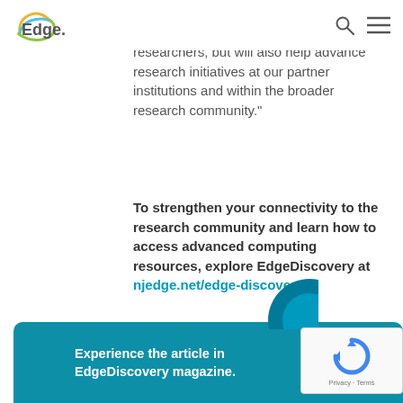Edge.
robust partnerships and find solutions that will impact not just Rowan researchers, but will also help advance research initiatives at our partner institutions and within the broader research community.”
To strengthen your connectivity to the research community and learn how to access advanced computing resources, explore EdgeDiscovery at njedge.net/edge-discovery.
Experience the article in EdgeDiscovery magazine.